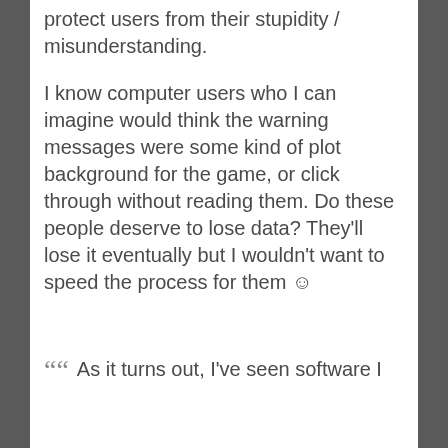protect users from their stupidity / misunderstanding.
I know computer users who I can imagine would think the warning messages were some kind of plot background for the game, or click through without reading them. Do these people deserve to lose data? They'll lose it eventually but I wouldn't want to speed the process for them ☺
As it turns out, I've seen software I